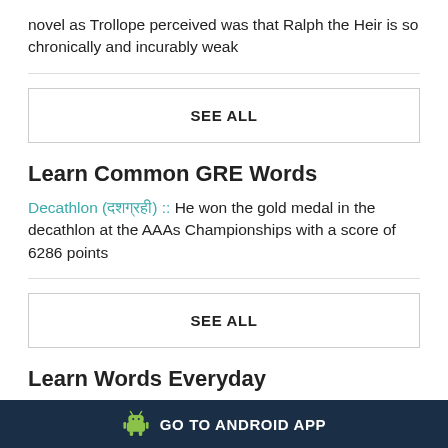novel as Trollope perceived was that Ralph the Heir is so chronically and incurably weak
SEE ALL
Learn Common GRE Words
Decathlon (दशग्रही) :: He won the gold medal in the decathlon at the AAAs Championships with a score of 6286 points
SEE ALL
Learn Words Everyday
GO TO ANDROID APP